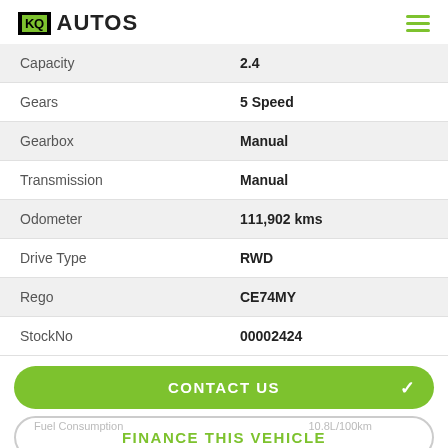KQ AUTOS
| Label | Value |
| --- | --- |
| Capacity | 2.4 |
| Gears | 5 Speed |
| Gearbox | Manual |
| Transmission | Manual |
| Odometer | 111,902 kms |
| Drive Type | RWD |
| Rego | CE74MY |
| StockNo | 00002424 |
CONTACT US
FINANCE THIS VEHICLE
Fuel Consumption   10.8L/100km